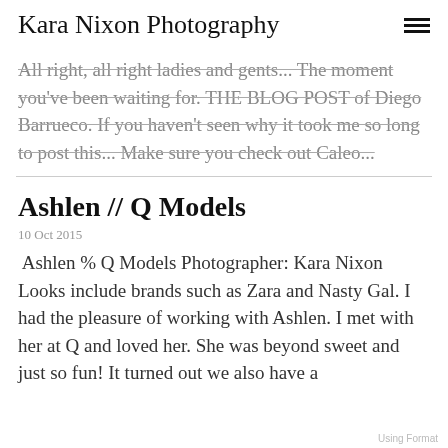Kara Nixon Photography
All right, all right ladies and gents... The moment you've been waiting for. THE BLOG POST of Diego Barrueco. If you haven't seen why it took me so long to post this... Make sure you check out Caleo...
Ashlen // Q Models
10 Oct 2015
Ashlen % Q Models Photographer: Kara Nixon Looks include brands such as Zara and Nasty Gal. I had the pleasure of working with Ashlen. I met with her at Q and loved her. She was beyond sweet and just so fun! It turned out we also have a